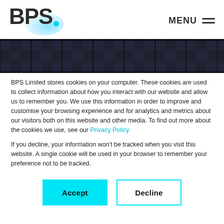BPS. MENU
[Figure (photo): Horizontal strip of solar panels forming a dark decorative banner image]
BPS Limited stores cookies on your computer. These cookies are used to collect information about how you interact with our website and allow us to remember you. We use this information in order to improve and customise your browsing experience and for analytics and metrics about our visitors both on this website and other media. To find out more about the cookies we use, see our Privacy Policy.
If you decline, your information won't be tracked when you visit this website. A single cookie will be used in your browser to remember your preference not to be tracked.
Accept   Decline